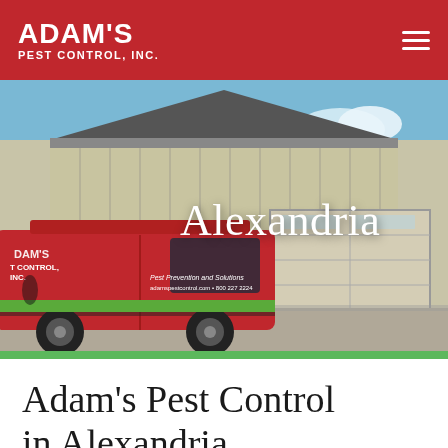ADAM'S PEST CONTROL, INC.
[Figure (photo): Adam's Pest Control red van parked in front of a house with garage door, with 'Alexandria' text overlay on the hero image. Van has 'Pest Prevention and Solutions, adamspestcontrol.com • 800 227 2224' text on side.]
Adam's Pest Control in Alexandria